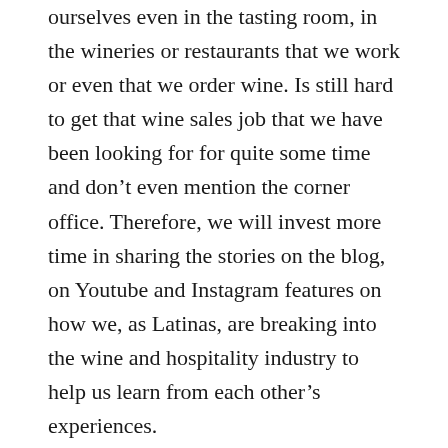ourselves even in the tasting room, in the wineries or restaurants that we work or even that we order wine. Is still hard to get that wine sales job that we have been looking for for quite some time and don't even mention the corner office. Therefore, we will invest more time in sharing the stories on the blog, on Youtube and Instagram features on how we, as Latinas, are breaking into the wine and hospitality industry to help us learn from each other's experiences.
Beyond The Hashtag
We started as an Instagram page, but we evolved rapidly. The Wine School is a technological educational platform, and we craft all our